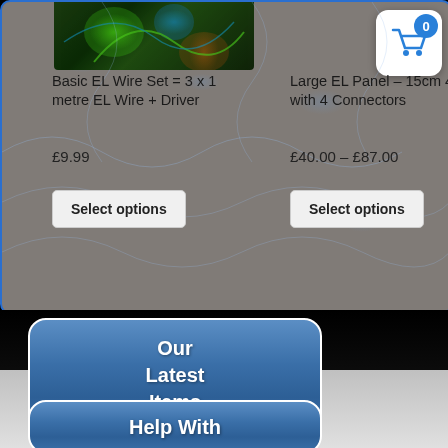[Figure (screenshot): Product listing card showing EL wire products on a grey background with blue EL wire pattern overlay. Top section shows product image of glowing EL wire plant, two product listings side by side.]
Basic EL Wire Set = 3 x 1 metre EL Wire + Driver
Large EL Panel – 15cm 40cm with 4 Connectors
£9.99
£40.00 – £87.00
Select options
Select options
Our Latest Items
Help With